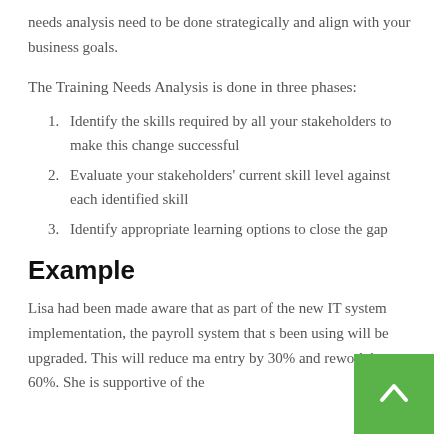needs analysis need to be done strategically and align with your business goals.
The Training Needs Analysis is done in three phases:
Identify the skills required by all your stakeholders to make this change successful
Evaluate your stakeholders' current skill level against each identified skill
Identify appropriate learning options to close the gap
Example
Lisa had been made aware that as part of the new IT system implementation, the payroll system that s been using will be upgraded. This will reduce ma entry by 30% and rework by 60%. She is supportive of the